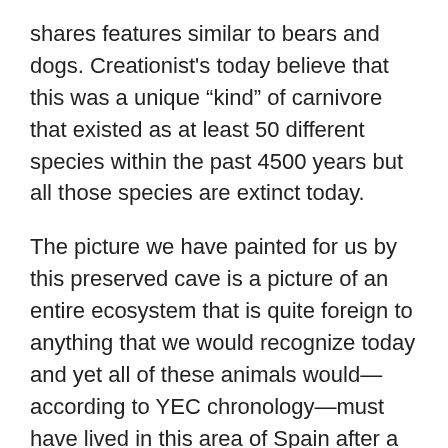shares features similar to bears and dogs. Creationist's today believe that this was a unique “kind” of carnivore that existed as at least 50 different species within the past 4500 years but all those species are extinct today.
The picture we have painted for us by this preserved cave is a picture of an entire ecosystem that is quite foreign to anything that we would recognize today and yet all of these animals would—according to YEC chronology—must have lived in this area of Spain after a global flood less than 4500 years ago.  This timeline, as I’ve stated many time in other places, strains credulity. Unfortunately, fossil locations such as this one will either not be mentioned in the creationist literature or will be written about vaguely as being easily explained